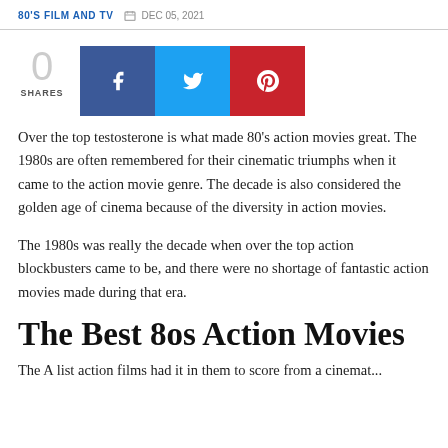80'S FILM AND TV   DEC 05, 2021
[Figure (infographic): Social share widget showing 0 shares with Facebook, Twitter, and Pinterest buttons]
Over the top testosterone is what made 80's action movies great. The 1980s are often remembered for their cinematic triumphs when it came to the action movie genre. The decade is also considered the golden age of cinema because of the diversity in action movies.
The 1980s was really the decade when over the top action blockbusters came to be, and there were no shortage of fantastic action movies made during that era.
The Best 8os Action Movies
The A list action films had it in them to score from a cinemat...